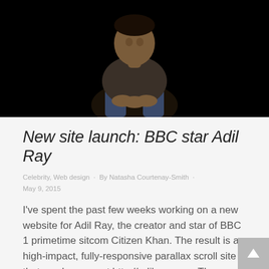[Figure (photo): A man in a dark t-shirt and jeans sitting against a black background, viewed from roughly chest up, with hands clasped.]
New site launch: BBC star Adil Ray
Celebrity, Web design · By Natasha Courtenay-Smith · May 9, 2015
I've spent the past few weeks working on a new website for Adil Ray, the creator and star of BBC 1 primetime sitcom Citizen Khan. The result is a high-impact, fully-responsive parallax scroll site that can be seen at http://adilray.com.  The new site is set to delight and inform his fans (and boost DVD sales) and...